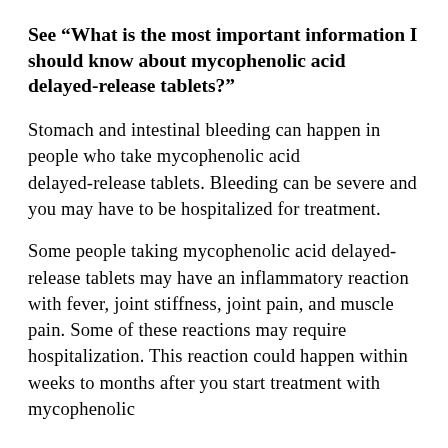See “What is the most important information I should know about mycophenolic acid delayed-release tablets?”
Stomach and intestinal bleeding can happen in people who take mycophenolic acid delayed-release tablets. Bleeding can be severe and you may have to be hospitalized for treatment.
Some people taking mycophenolic acid delayed-release tablets may have an inflammatory reaction with fever, joint stiffness, joint pain, and muscle pain. Some of these reactions may require hospitalization. This reaction could happen within weeks to months after you start treatment with mycophenolic